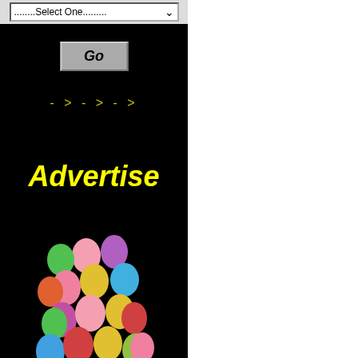[Figure (screenshot): A dropdown select box with text '........Select One.......' and a dropdown arrow on a grey background]
[Figure (screenshot): A grey button with bold italic text 'Go' on black background]
- > - > - >
Advertise
[Figure (illustration): A cluster of colorful balloons (pink, purple, green, blue, red, yellow, orange) arranged in a tall bunch on black background]